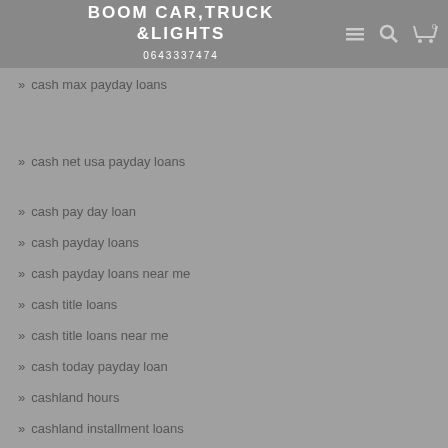BOOM CAR,TRUCK &LIGHTS
0643337474
cash loans payday
cash max payday loans
cash net usa payday loans
cash pay day loan
cash payday loans
cash payday loans near me
cash title loans
cash title loans near me
cash today payday loan
cashland hours
cashland installment loans
cashland payday loans
Casino
Casino Bonus
casino games canada